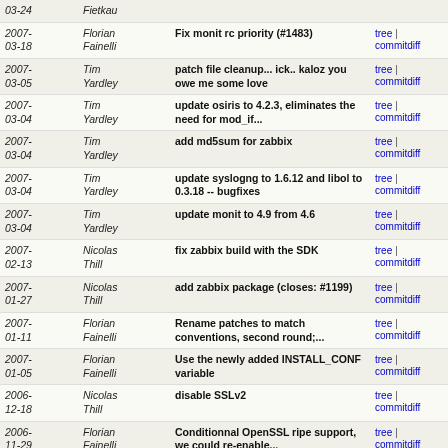| Date | Author | Message | Links |
| --- | --- | --- | --- |
| 2007-03-24 | Florian Fainelli |  | tree | commitdiff |
| 2007-03-18 | Florian Fainelli | Fix monit rc priority (#1483) | tree | commitdiff |
| 2007-03-05 | Tim Yardley | patch file cleanup... ick.. kaloz you owe me some love | tree | commitdiff |
| 2007-03-04 | Tim Yardley | update osiris to 4.2.3, eliminates the need for mod_if... | tree | commitdiff |
| 2007-03-04 | Tim Yardley | add md5sum for zabbix | tree | commitdiff |
| 2007-03-04 | Tim Yardley | update syslogng to 1.6.12 and libol to 0.3.18 -- bugfixes | tree | commitdiff |
| 2007-03-04 | Tim Yardley | update monit to 4.9 from 4.6 | tree | commitdiff |
| 2007-02-13 | Nicolas Thill | fix zabbix build with the SDK | tree | commitdiff |
| 2007-01-27 | Nicolas Thill | add zabbix package (closes: #1199) | tree | commitdiff |
| 2007-01-11 | Florian Fainelli | Rename patches to match conventions, second round;... | tree | commitdiff |
| 2007-01-05 | Florian Fainelli | Use the newly added INSTALL_CONF variable | tree | commitdiff |
| 2006-12-18 | Nicolas Thill | disable SSLv2 | tree | commitdiff |
| 2006-11-29 | Florian Fainelli | Conditionnal OpenSSL ripe support, we could re-enable... | tree | commitdiff |
| 2006-11-23 | Felix Fietkau | replace lots of manual install commands with INSTALL ... | tree | commitdiff |